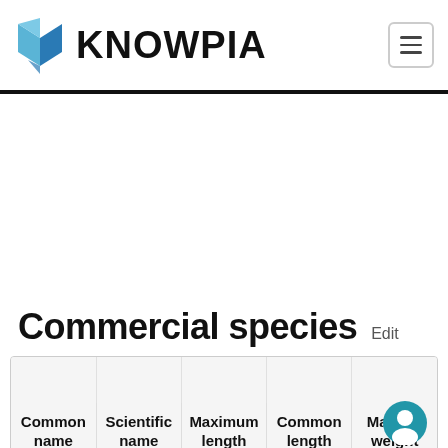KNOWPIA
Commercial species  Edit
| Common name | Scientific name | Maximum length | Common length | Maximum weight |
| --- | --- | --- | --- | --- |